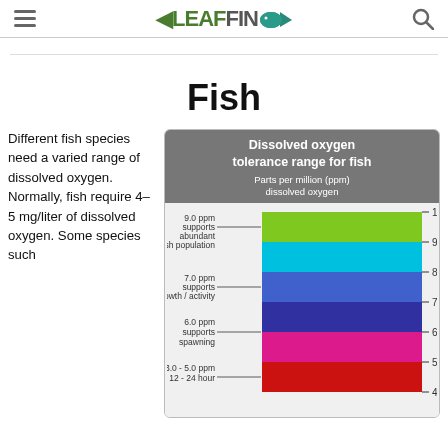LEAFIN [logo]
Fish
Different fish species need a varied range of dissolved oxygen. Normally, fish require 4–5 mg/liter of dissolved oxygen. Some species such...
[Figure (infographic): Dissolved oxygen tolerance range for fish. Parts per million (ppm) dissolved oxygen. Horizontal bar chart showing: 9.0 ppm supports abundant fish population (green bar, 9-10 range; cyan bar, 8-9 range); 7.0 ppm supports growth/activity (blue/purple bar, 7-8 range; dark blue bar, 6-7 range); 6.0 ppm supports spawning (pink/magenta bar, 5-6 range); 3.0-5.0 ppm 12-24 hour (red bar, 4-5 range). Scale 4.0 to 10.0 on right axis.]